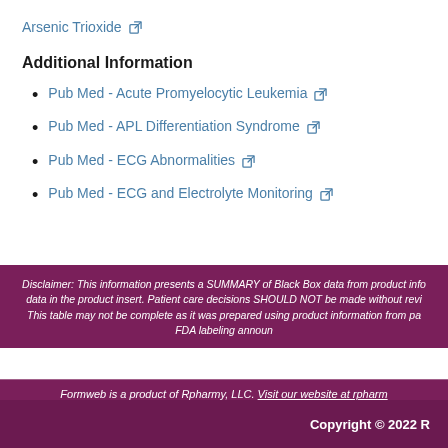Arsenic Trioxide
Additional Information
Pub Med - Acute Promyelocytic Leukemia
Pub Med - APL Differentiation Syndrome
Pub Med - ECG Abnormalities
Pub Med - ECG and Electrolyte Monitoring
Disclaimer: This information presents a SUMMARY of Black Box data from product info data in the product insert. Patient care decisions SHOULD NOT be made without revi This table may not be complete as it was prepared using product information from pa FDA labeling announ
Formweb is a product of Rpharmy, LLC. Visit our website at rpharm
Copyright © 2022 R